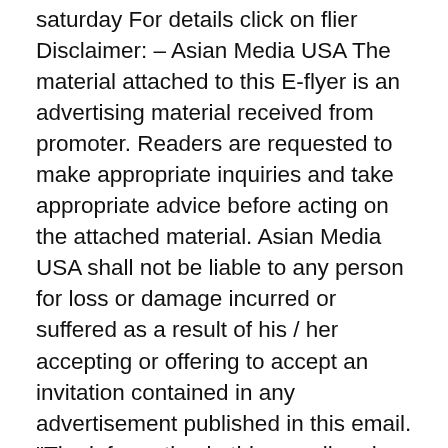saturday For details click on flier Disclaimer: – Asian Media USA The material attached to this E-flyer is an advertising material received from promoter. Readers are requested to make appropriate inquiries and take appropriate advice before acting on the attached material. Asian Media USA shall not be liable to any person for loss or damage incurred or suffered as a result of his / her accepting or offering to accept an invitation contained in any advertisement published in this email. "The information in this e-mail and any attachments is confidential and may be legally privileged. It is intended solely for the addressee or addressees. If you are not an intended recipient, please delete the message and any attachments and notify the sender of miss-delivery. Any use or disclosure of the contents of either is unauthorized and may be unlawful. All liability for viruses is excluded to the fullest extent permitted by law. Any views expressed in this message are those of the individual sender, except where the sender states them, with requisite authority, to be those of the Asian